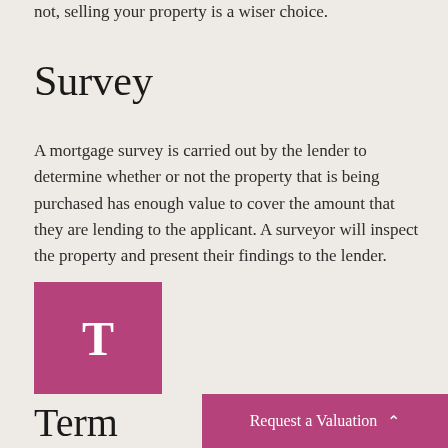not, selling your property is a wiser choice.
Survey
A mortgage survey is carried out by the lender to determine whether or not the property that is being purchased has enough value to cover the amount that they are lending to the applicant. A surveyor will inspect the property and present their findings to the lender.
[Figure (illustration): Pink/magenta square with white letter T inside, representing the start of a glossary term entry for 'Term']
Term
Request a Valuation ^